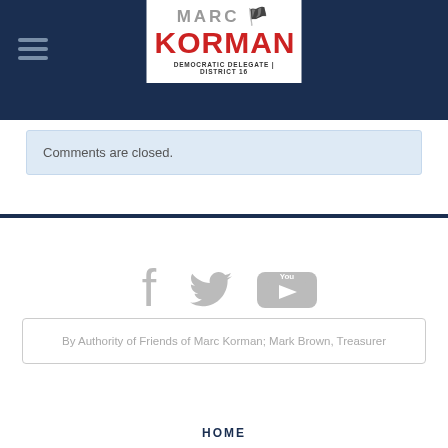Marc Korman — Democratic Delegate | District 16
Comments are closed.
[Figure (logo): Social media icons: Facebook, Twitter, YouTube in gray]
By Authority of Friends of Marc Korman; Mark Brown, Treasurer
HOME